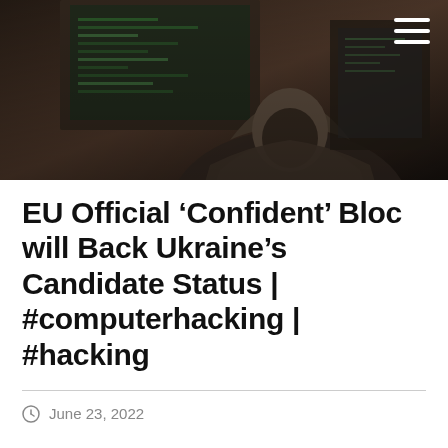[Figure (photo): A hooded person sitting in front of computer screens in a dark, moody environment, conveying a hacking/cybersecurity theme. Image has a sepia/dark tone.]
EU Official ‘Confident’ Bloc will Back Ukraine’s Candidate Status | #computerhacking | #hacking
June 23, 2022